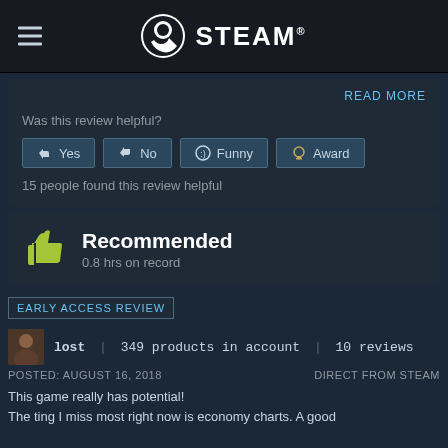STEAM
READ MORE
Was this review helpful?
Yes  No  Funny  Award
15 people found this review helpful
Recommended
0.8 hrs on record
EARLY ACCESS REVIEW
lost  |  349 products in account  |  10 reviews
POSTED: AUGUST 16, 2018   DIRECT FROM STEAM
This game really has potential!
The ting I miss most right now is economy charts. A good